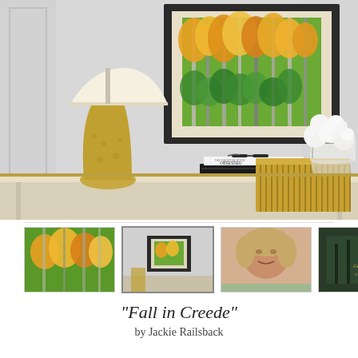[Figure (photo): Room scene showing a framed autumn aspen tree painting hanging on a light grey paneled wall, above a console table with a gold textured lamp, stacked books with sunglasses, white roses in a clear vase, and a gold ribbed decorative box.]
[Figure (photo): Four thumbnail images: (1) close-up of the autumn aspen painting, (2) framed painting in room context, (3) portrait photo of the artist Jackie Railsback, (4) book or catalog cover with gold text.]
“Fall in Creede”
by Jackie Railsback